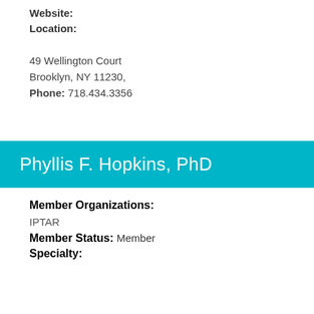Website:
Location:
49 Wellington Court
Brooklyn, NY 11230,
Phone: 718.434.3356
Phyllis F. Hopkins, PhD
Member Organizations:
IPTAR
Member Status: Member
Specialty: